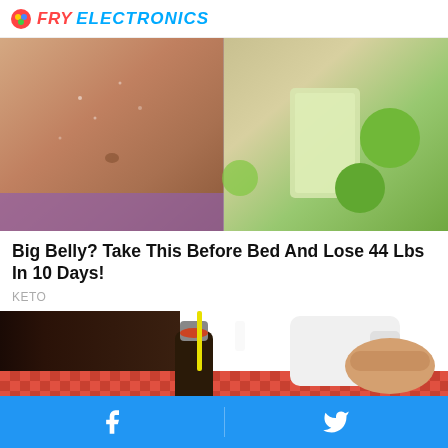FRY ELECTRONICS
[Figure (photo): Split image: left side shows a toned abdomen with water droplets in a purple sports bra, right side shows a glass of lime juice with green limes in the background]
Big Belly? Take This Before Bed And Lose 44 Lbs In 10 Days!
KETO
[Figure (photo): A hand pouring white liquid (milk) from a large container into a small dark glass bottle on a red checkered tablecloth]
Facebook Twitter social share bar